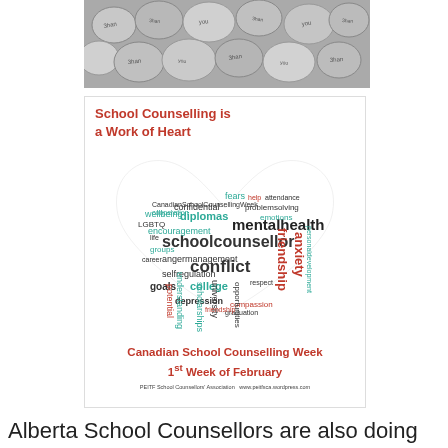[Figure (photo): Top portion showing a collection of silver/metallic buttons or coins with text written on them]
[Figure (infographic): Canadian School Counselling Week poster with word cloud in the shape of a heart. Contains text 'School Counselling is a Work of Heart', a word cloud heart shape with terms like schoolcounsellor, mentalhealth, conflict, friendship, anxiety, diplomas, college, university, goals, etc. Bottom reads 'Canadian School Counselling Week 1st Week of February'. Credit: PEITF School Counsellors' Association www.peitfsca.wordpress.com]
Alberta School Counsellors are also doing